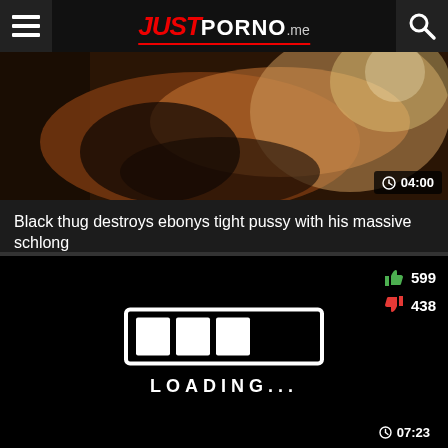JUSTPORNO.me
[Figure (screenshot): Video thumbnail showing a blurred intimate scene]
04:00
Black thug destroys ebonys tight pussy with his massive schlong
[Figure (screenshot): Black video player loading screen with thumbs up 599 and thumbs down 438, showing LOADING... animation]
07:23